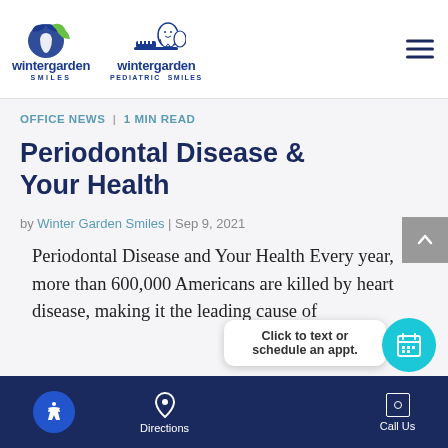[Figure (logo): Winter Garden Smiles logo with blue and green leaf icon]
[Figure (logo): Winter Garden Pediatric Smiles logo with tooth and child icon]
OFFICE NEWS  |  1 MIN READ
Periodontal Disease & Your Health
by Winter Garden Smiles | Sep 9, 2021
Periodontal Disease and Your Health Every year, more than 600,000 Americans are killed by heart disease, making it the leading cause of
Click to text or schedule an appt.